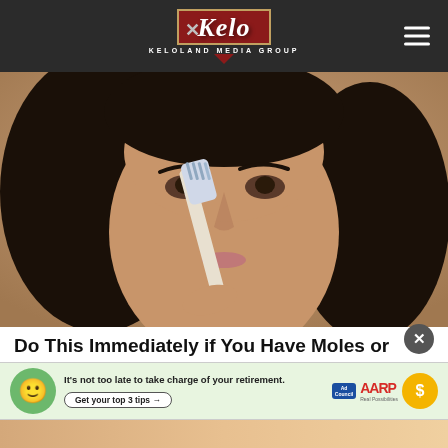KELOLAND MEDIA GROUP
[Figure (photo): Close-up photo of a young woman with dark hair holding a toothbrush to her nose, demonstrating a skincare technique]
Do This Immediately if You Have Moles or Skin Tags, It's Genius
Smart
[Figure (photo): AARP advertisement banner: It's not too late to take charge of your retirement. Get your top 3 tips. Ad Council logo and AARP Real Possibilities logo with green smiley face emoji and yellow sun icon.]